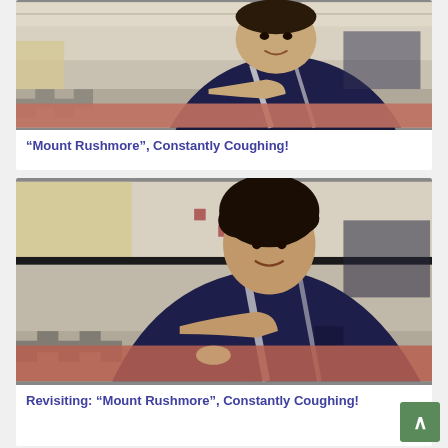[Figure (photo): Young person in a dark navy blue jacket sitting at a cafeteria table, resting chin on hand, smiling slightly. Checkered floor visible in background.]
“Mount Rushmore”, Constantly Coughing!
[Figure (photo): Same young person in a dark navy blue jacket sitting at a cafeteria table, resting chin on hand, smiling. Curly hair. Same cafeteria setting with checkered floor.]
Revisiting: “Mount Rushmore”, Constantly Coughing!